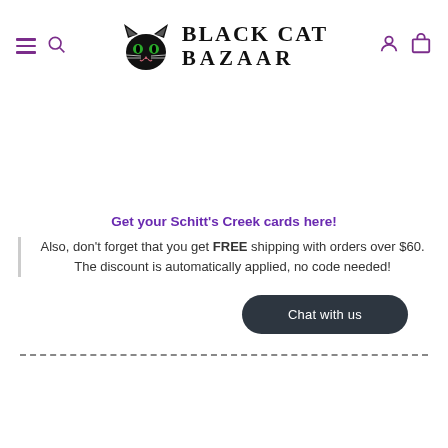BLACK CAT BAZAAR (logo with navigation)
Get your Schitt's Creek cards here!
Also, don't forget that you get FREE shipping with orders over $60. The discount is automatically applied, no code needed!
Chat with us